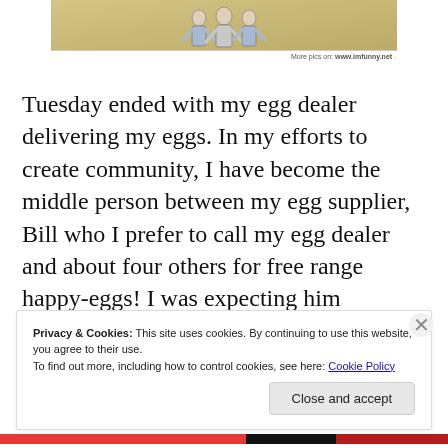[Figure (illustration): Top portion of a comic strip image with cartoon figures against a tan/khaki background, with a watermark 'More pics on: www.imfunny.net']
Tuesday ended with my egg dealer delivering my eggs. In my efforts to create community, I have become the middle person between my egg supplier, Bill who I prefer to call my egg dealer and about four others for free range happy-eggs! I was expecting him Thursday evening but he ended up in the area earlier. Just in time for a true wes classic
Privacy & Cookies: This site uses cookies. By continuing to use this website, you agree to their use.
To find out more, including how to control cookies, see here: Cookie Policy
Close and accept